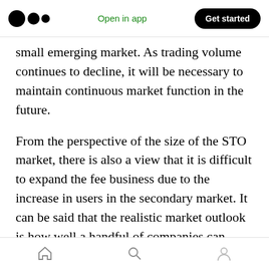Open in app | Get started
small emerging market. As trading volume continues to decline, it will be necessary to maintain continuous market function in the future.
From the perspective of the size of the STO market, there is also a view that it is difficult to expand the fee business due to the increase in users in the secondary market. It can be said that the realistic market outlook is how well a handful of companies can survive as the selection of entrants progresses. Under such circumstances,
Home | Search | Profile